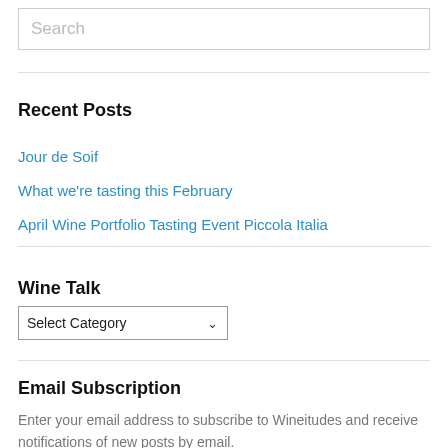Search
Recent Posts
Jour de Soif
What we're tasting this February
April Wine Portfolio Tasting Event Piccola Italia
Wine Talk
Select Category
Email Subscription
Enter your email address to subscribe to Wineitudes and receive notifications of new posts by email.